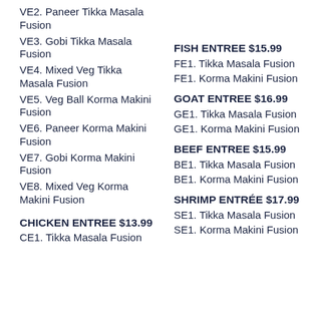VE2. Paneer Tikka Masala Fusion
VE3. Gobi Tikka Masala Fusion
VE4. Mixed Veg Tikka Masala Fusion
VE5. Veg Ball Korma Makini Fusion
VE6. Paneer Korma Makini Fusion
VE7. Gobi Korma Makini Fusion
VE8. Mixed Veg Korma Makini Fusion
CHICKEN ENTREE $13.99
CE1. Tikka Masala Fusion
FISH ENTREE $15.99
FE1. Tikka Masala Fusion
FE1. Korma Makini Fusion
GOAT ENTREE $16.99
GE1. Tikka Masala Fusion
GE1. Korma Makini Fusion
BEEF ENTREE $15.99
BE1. Tikka Masala Fusion
BE1. Korma Makini Fusion
SHRIMP ENTRÉE $17.99
SE1. Tikka Masala Fusion
SE1. Korma Makini Fusion